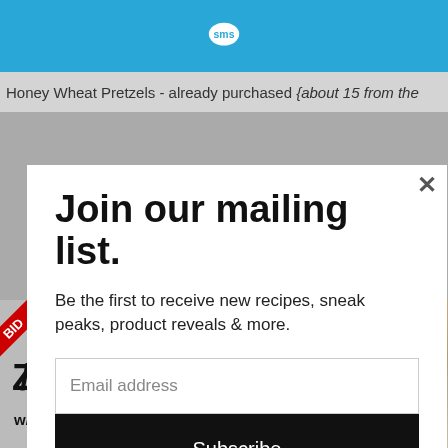[Figure (screenshot): Blue header bar with SMS speech bubble logo icon in white]
Honey Wheat Pretzels - already purchased {about 15 from the
Join our mailing list.
Be the first to receive new recipes, sneak peaks, product reveals & more.
Email address
Subscribe
CLOSE
[Figure (photo): Bottom advertisement area with BID badge, ZOOM text and w/ BEST-SELLING text on the left, and a blonde woman photo on the right]